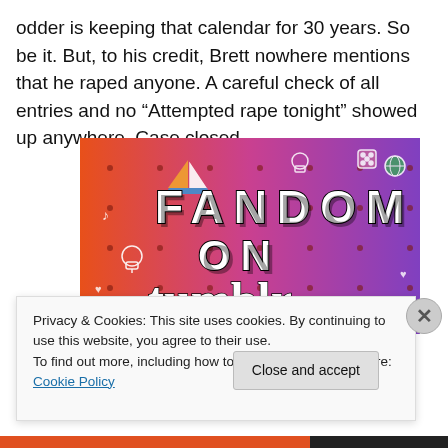odder is keeping that calendar for 30 years. So be it. But, to his credit, Brett nowhere mentions that he raped anyone. A careful check of all entries and no “Attempted rape tonight” showed up anywhere. Case closed.
[Figure (illustration): Colorful Fandom on Tumblr promotional banner with orange-to-purple gradient background, white doodle icons (skull, sailboat, music notes, dice, arrows), and bold text reading 'FANDOM ON tumblr']
Privacy & Cookies: This site uses cookies. By continuing to use this website, you agree to their use.
To find out more, including how to control cookies, see here: Cookie Policy